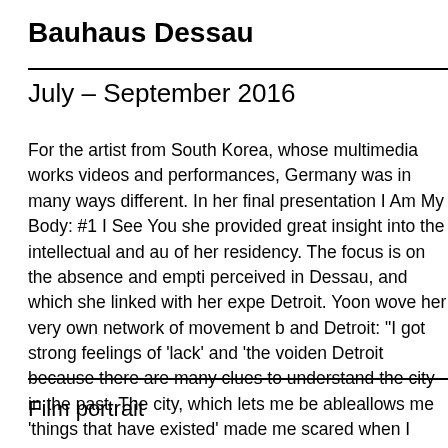Bauhaus Dessau
July – September 2016
For the artist from South Korea, whose multimedia works videos and performances, Germany was in many ways different. In her final presentation I Am My Body: #1 I See You she provided great insight into the intellectual and au of her residency. The focus is on the absence and empti perceived in Dessau, and which she linked with her expe Detroit. Yoon wove her very own network of movement b and Detroit: "I got strong feelings of 'lack' and 'the voiden Detroit because there are many clues to understand the city in the past. The city, which lets me be ableallows me 'things that have existed' made me scared when I faced
Film portrait